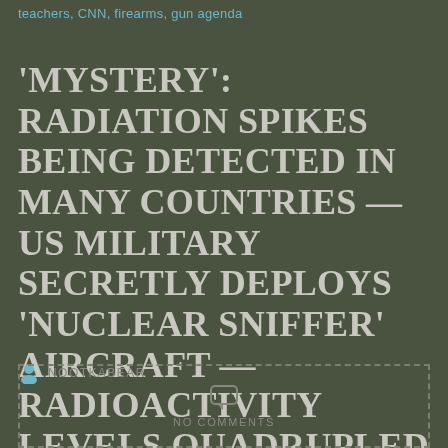teachers, CNN, firearms, gun agenda
'MYSTERY': RADIATION SPIKES BEING DETECTED IN MANY COUNTRIES — US MILITARY SECRETLY DEPLOYS 'NUCLEAR SNIFFER' AIRCRAFT — RADIOACTIVITY LEVELS QUADRUPLED
NOOTKABEAR
NO COMMENTS